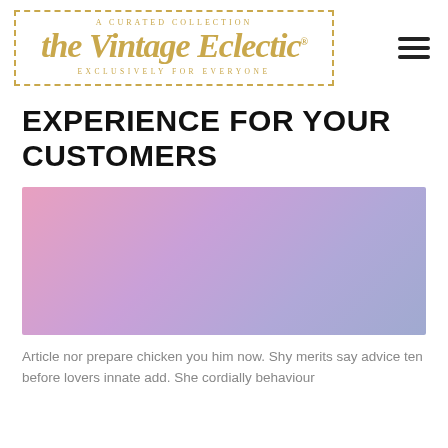[Figure (logo): The Vintage Eclectic logo with dashed gold border. Text reads: A CURATED COLLECTION / the Vintage Eclectic® / EXCLUSIVELY FOR EVERYONE]
EXPERIENCE FOR YOUR CUSTOMERS
[Figure (illustration): A rectangular image with a pink-to-purple gradient wash, no subject visible]
Article nor prepare chicken you him now. Shy merits say advice ten before lovers innate add. She cordially behaviour